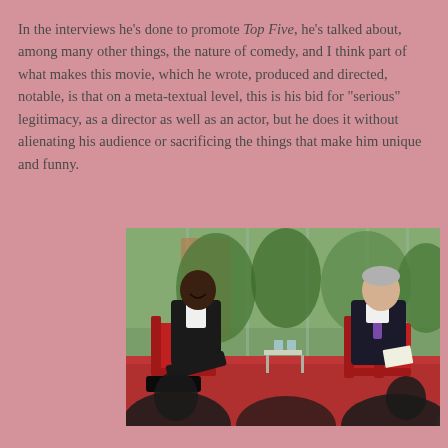In the interviews he's done to promote Top Five, he's talked about, among many other things, the nature of comedy, and I think part of what makes this movie, which he wrote, produced and directed, notable, is that on a meta-textual level, this is his bid for "serious" legitimacy, as a director as well as an actor, but he does it without alienating his audience or sacrificing the things that make him unique and funny.
[Figure (photo): Two men seated in red chairs on a red-carpeted stage in a glass-walled room with green foliage outside. The man on the left wears a black jacket over a white shirt and leans back casually. The man on the right wears a dark suit with a purple tie and holds papers. There is a small table with water glasses between them. Audience silhouettes are visible in the foreground.]